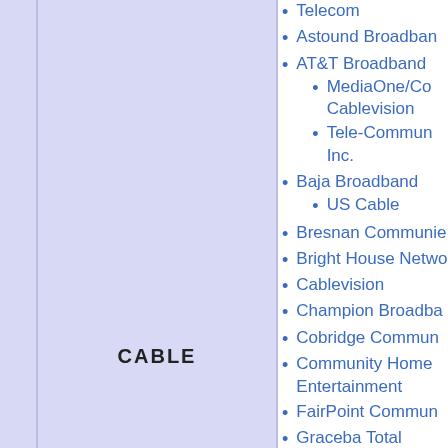Telecom
Astound Broadband
AT&T Broadband
MediaOne/Comcast Cablevision
Tele-Communications Inc.
Baja Broadband
US Cable
Bresnan Communications
Bright House Networks
Cablevision
Champion Broadband
Cobridge Communications
Community Home Entertainment
FairPoint Communications
Graceba Total Communications